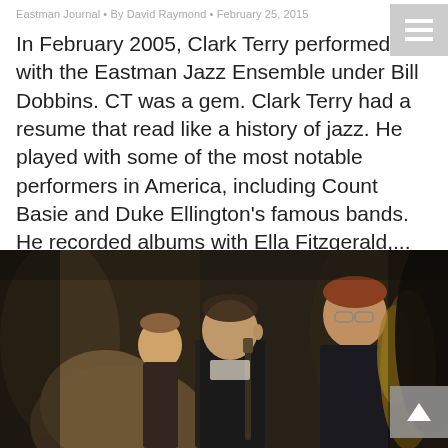Eastman Journal • By David Raymond • February 25, 2015
In February 2005, Clark Terry performed with the Eastman Jazz Ensemble under Bill Dobbins. CT was a gem. Clark Terry had a resume that read like a history of jazz. He played with some of the most notable performers in America, including Count Basie and Duke Ellington's famous bands. He recorded albums with Ella Fitzgerald,...
[Figure (photo): Black and white photo of jazz ensemble musicians playing wind instruments including clarinet and saxophone, wearing formal attire]